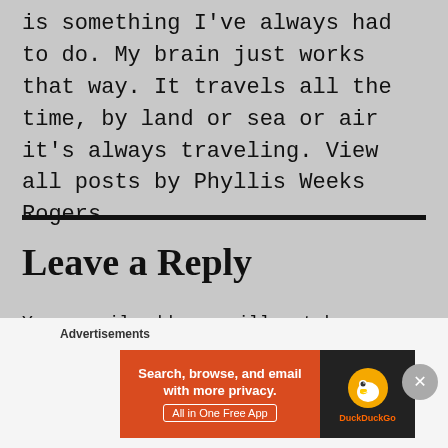is something I've always had to do. My brain just works that way. It travels all the time, by land or sea or air it's always traveling. View all posts by Phyllis Weeks Rogers
Leave a Reply
Your email address will not be published. Required fields are marked *
[Figure (infographic): DuckDuckGo advertisement banner: orange left panel with text 'Search, browse, and email with more privacy. All in One Free App', dark right panel with DuckDuckGo duck logo and brand name.]